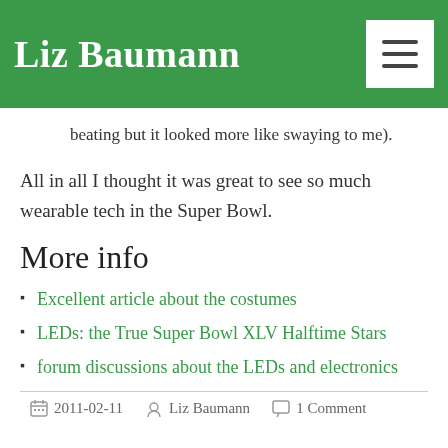Liz Baumann
beating but it looked more like swaying to me).
All in all I thought it was great to see so much wearable tech in the Super Bowl.
More info
Excellent article about the costumes
LEDs: the True Super Bowl XLV Halftime Stars
forum discussions about the LEDs and electronics
2011-02-11  Liz Baumann  1 Comment